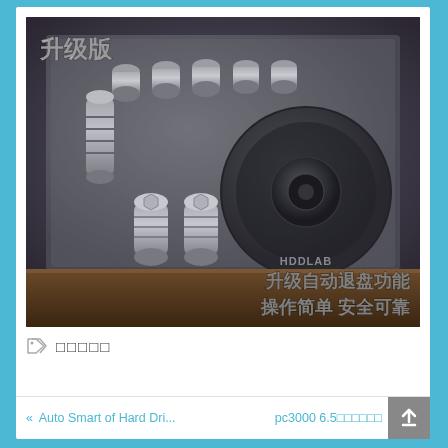[Figure (photo): Product photo showing an HDDLAB hard drive recovery tool kit in a foam-lined black box. The kit includes cylindrical metal tools/adapters. Chinese text overlay reads: 升级版 (top left, white) and 升级自动退盘功能 操作简单 安全可靠 (bottom right, white). The HDDLAB brand name is embossed on a round black component in the center-right of the box.]
□□□□□
« Auto Smart of Hard Dri...    pc3000 6.5□□□□□□